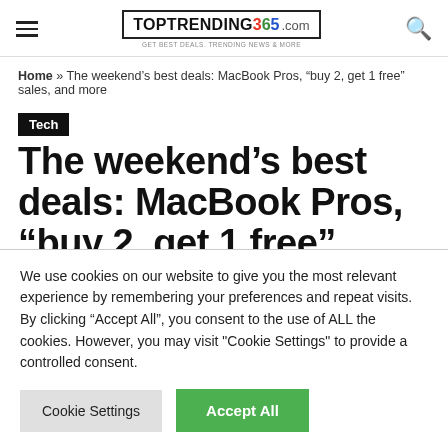TOPTRENDING365.COM
Home » The weekend’s best deals: MacBook Pros, “buy 2, get 1 free” sales, and more
Tech
The weekend’s best deals: MacBook Pros, “buy 2, get 1 free” sales,
We use cookies on our website to give you the most relevant experience by remembering your preferences and repeat visits. By clicking “Accept All”, you consent to the use of ALL the cookies. However, you may visit "Cookie Settings" to provide a controlled consent.